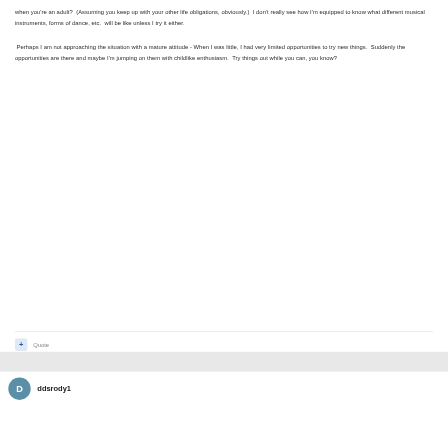when you're an adult?  (Assuming you keep up with your other life obligations, obviously.)  I don't really see how I'm equipped to know what different musical instruments, forms of dance, etc.  will be like unless I try it either.
 Perhaps I am not approaching the situation with a mature attitude - When I was little, I had very limited opportunities to try new things.  Suddenly the opportunities are there and maybe I'm jumping on them with childlike enthusiasm.  Try things out while you can, you know?
Quote
ddsrody1